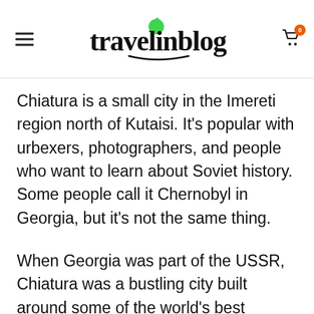travelinblogs
Chiatura is a small city in the Imereti region north of Kutaisi. It's popular with urbexers, photographers, and people who want to learn about Soviet history. Some people call it Chernobyl in Georgia, but it's not the same thing.
When Georgia was part of the USSR, Chiatura was a bustling city built around some of the world's best manganese mines.